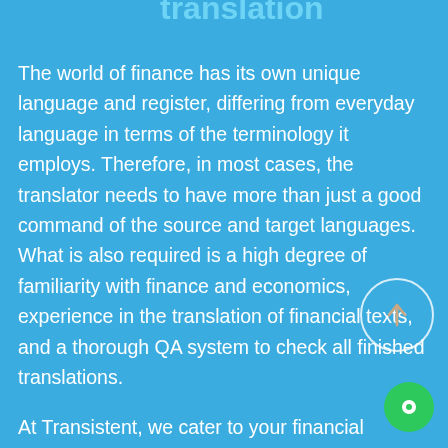translation
The world of finance has its own unique language and register, differing from everyday language in terms of the terminology it employs. Therefore, in most cases, the translator needs to have more than just a good command of the source and target languages. What is also required is a high degree of familiarity with finance and economics, experience in the translation of financial texts, and a thorough QA system to check all finished translations.
At Transistent, we cater to your financial translation requirements using our expert translators chosen from a pool of more